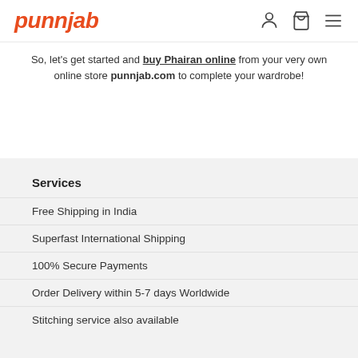punnjab
So, let's get started and buy Phairan online from your very own online store punnjab.com to complete your wardrobe!
Services
Free Shipping in India
Superfast International Shipping
100% Secure Payments
Order Delivery within 5-7 days Worldwide
Stitching service also available